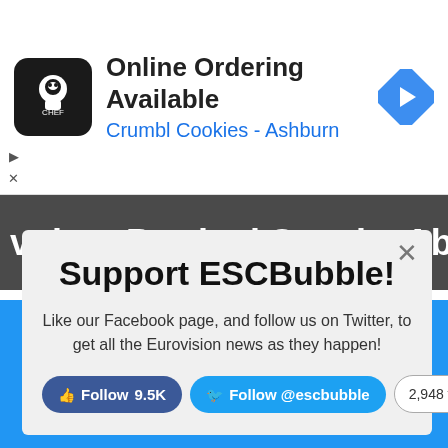[Figure (screenshot): Ad banner for Crumbl Cookies - Ashburn with cookie chef logo, text 'Online Ordering Available / Crumbl Cookies - Ashburn', and a blue navigation arrow icon]
Voitan Prodani Speaks About His
Support ESCBubble!
Like our Facebook page, and follow us on Twitter, to get all the Eurovision news as they happen!
Follow 9.5K   Follow @escbubble   2,948 followers
ESCBubble uses cookies to ensure that you are given the best experience on our website. If you continue to use this site we will assume that you are happy with it.
Ok